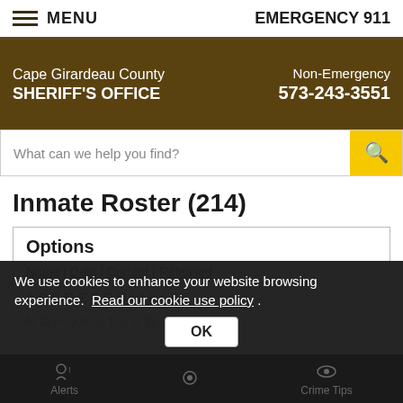MENU | EMERGENCY 911
Cape Girardeau County SHERIFF'S OFFICE | Non-Emergency 573-243-3551
What can we help you find?
Inmate Roster (214)
Options
Name | Date | Current | Released
A B C D E F G H I J K L M
N O P Q R S T U V W X Y Z
We use cookies to enhance your website browsing experience. Read our cookie use policy .
OK